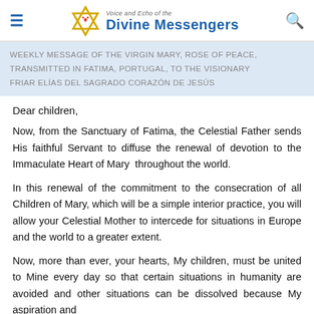Voice and Echo of the Divine Messengers
WEEKLY MESSAGE OF THE VIRGIN MARY, ROSE OF PEACE, TRANSMITTED IN FATIMA, PORTUGAL, TO THE VISIONARY FRIAR ELÍAS DEL SAGRADO CORAZÓN DE JESÚS
Dear children,
Now, from the Sanctuary of Fatima, the Celestial Father sends His faithful Servant to diffuse the renewal of devotion to the Immaculate Heart of Mary throughout the world.
In this renewal of the commitment to the consecration of all Children of Mary, which will be a simple interior practice, you will allow your Celestial Mother to intercede for situations in Europe and the world to a greater extent.
Now, more than ever, your hearts, My children, must be united to Mine every day so that certain situations in humanity are avoided and other situations can be dissolved because My aspiration and